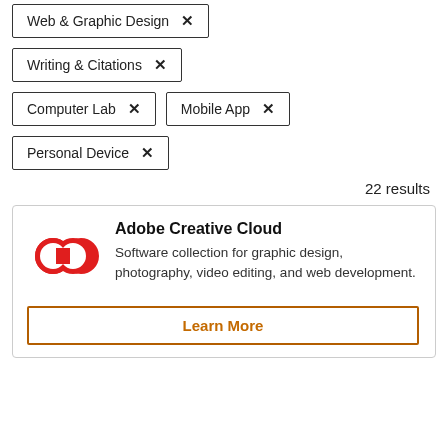Web & Graphic Design ×
Writing & Citations ×
Computer Lab ×
Mobile App ×
Personal Device ×
22 results
[Figure (logo): Adobe Creative Cloud red infinity-loop logo]
Adobe Creative Cloud
Software collection for graphic design, photography, video editing, and web development.
Learn More